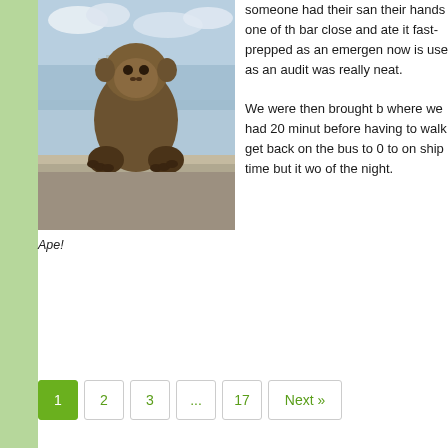[Figure (photo): A Barbary macaque (ape) sitting on a stone ledge with a coastal town and blue sea visible in the background, cloudy sky above.]
Ape!
someone had their san... their hands by one of th... bar close and ate it fast... prepped as an emergen... now is used as an audit... was really neat.
We were then brought b... where we had 20 minut... before having to walk b... get back on the bus to 0... to on ship time but it wo... of the night.
1
2
3
...
17
Next »